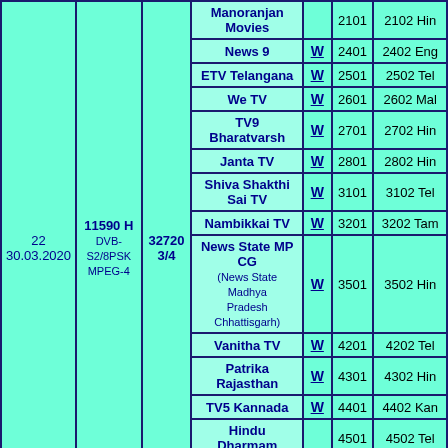| Sat/Pos | Frequency | SR/FEC | Channel | W | SID | V/A PID |
| --- | --- | --- | --- | --- | --- | --- |
| 22
30.03.2020 | 11590 H
DVB-S2/8PSK
MPEG-4 | 32720
3/4 | Manoranjan Movies |  | 2101 | 2102 Hin |
|  |  |  | News 9 | W | 2401 | 2402 Eng |
|  |  |  | ETV Telangana | W | 2501 | 2502 Tel |
|  |  |  | We TV | W | 2601 | 2602 Mal |
|  |  |  | TV9 Bharatvarsh | W | 2701 | 2702 Hin |
|  |  |  | Janta TV | W | 2801 | 2802 Hin |
|  |  |  | Shiva Shakthi Sai TV | W | 3101 | 3102 Tel |
|  |  |  | Nambikkai TV | W | 3201 | 3202 Tam |
|  |  |  | News State MP CG (News State Madhya Pradesh Chhattisgarh) | W | 3501 | 3502 Hin |
|  |  |  | Vanitha TV | W | 4201 | 4202 Tel |
|  |  |  | Patrika Rajasthan | W | 4301 | 4302 Hin |
|  |  |  | TV5 Kannada | W | 4401 | 4402 Kan |
|  |  |  | Hindu Dharmam |  | 4501 | 4502 Tel |
|  |  |  | Raj Musix Malayalam | W | 4601 | 4602 Mal |
|  |  |  | DD Gyan |  |  |  |